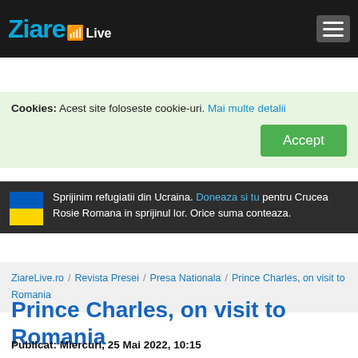ZiareLive
Cookies: Acest site foloseste cookie-uri. Mai multe detalii Accept
Sprijinim refugiatii din Ucraina. Doneaza si tu pentru Crucea Rosie Romana in sprijinul lor. Orice suma conteaza.
ZiareLive.ro / Revista Presei / Presa Nationala / Prince Charles, on visit to Romania
Prince Charles, on visit to Romania
Publicat: Miercuri, 25 Mai 2022, 10:15